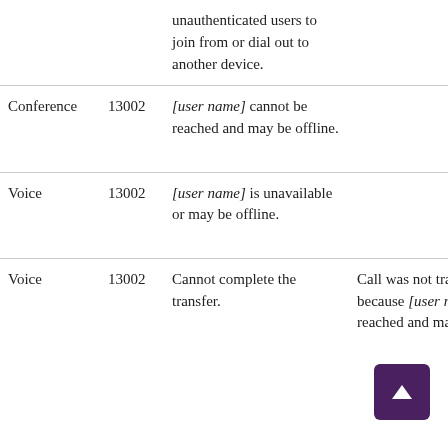|  |  | Message | Cause |  |
| --- | --- | --- | --- | --- |
|  |  | unauthenticated users to join from or dial out to another device. |  | a c |
| Conference | 13002 | [user name] cannot be reached and may be offline. |  | T c f |
| Voice | 13002 | [user name] is unavailable or may be offline. |  | T c f |
| Voice | 13002 | Cannot complete the transfer. | Call was not transferred because [user name] can reached and may be offline. | T c f |